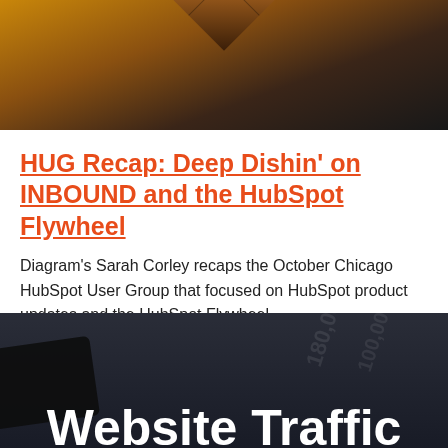[Figure (photo): Dark geometric diamond/cube shape on dark background, partially cropped at top of page]
HUG Recap: Deep Dishin' on INBOUND and the HubSpot Flywheel
Diagram's Sarah Corley recaps the October Chicago HubSpot User Group that focused on HubSpot product updates and the HubSpot Flywheel.
POSTED ON 10.5.18 BY SARAH CORLEY
[Figure (photo): Dark background image with numbers 180,000 and 100,000 visible as watermark text, 'Website Traffic' text in white at bottom, dark device visible at left edge]